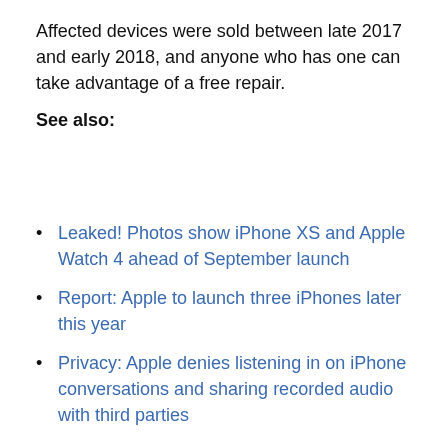Affected devices were sold between late 2017 and early 2018, and anyone who has one can take advantage of a free repair.
See also:
Leaked! Photos show iPhone XS and Apple Watch 4 ahead of September launch
Report: Apple to launch three iPhones later this year
Privacy: Apple denies listening in on iPhone conversations and sharing recorded audio with third parties
Apple stresses that the logic board problem only affects the iPhone 8; Plus models and other handsets do not